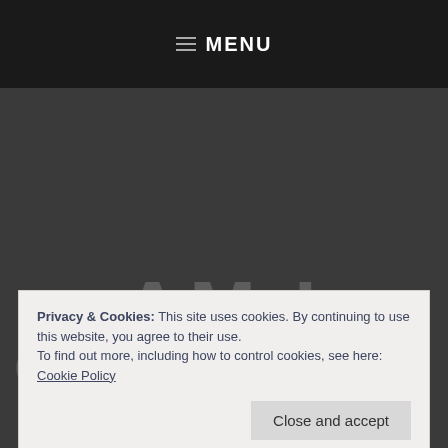≡ MENU
[Figure (screenshot): Dark gray background area representing a blog or website hero section with faint watermark text reading 'AM I GRUMBLING? APRIL 9, 2015']
Privacy & Cookies: This site uses cookies. By continuing to use this website, you agree to their use.
To find out more, including how to control cookies, see here: Cookie Policy
Close and accept